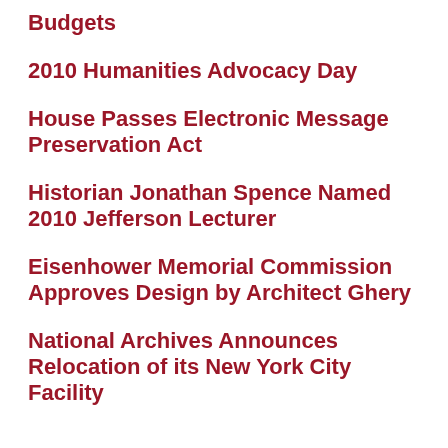Budgets
2010 Humanities Advocacy Day
House Passes Electronic Message Preservation Act
Historian Jonathan Spence Named 2010 Jefferson Lecturer
Eisenhower Memorial Commission Approves Design by Architect Ghery
National Archives Announces Relocation of its New York City Facility